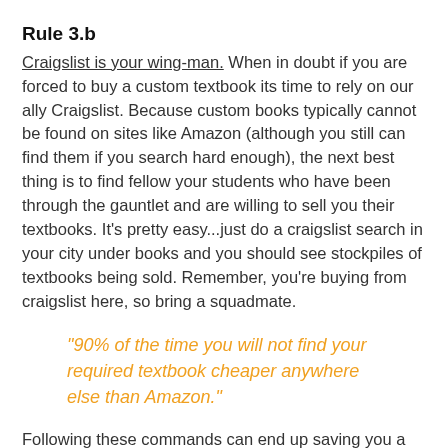Rule 3.b
Craigslist is your wing-man. When in doubt if you are forced to buy a custom textbook its time to rely on our ally Craigslist. Because custom books typically cannot be found on sites like Amazon (although you still can find them if you search hard enough), the next best thing is to find fellow your students who have been through the gauntlet and are willing to sell you their textbooks. It's pretty easy...just do a craigslist search in your city under books and you should see stockpiles of textbooks being sold. Remember, you're buying from craigslist here, so bring a squadmate.
"90% of the time you will not find your required textbook cheaper anywhere else than Amazon."
Following these commands can end up saving you a lot of money each semester. Heck, now maybe you'll be able to afford food rations for the next few months. The most